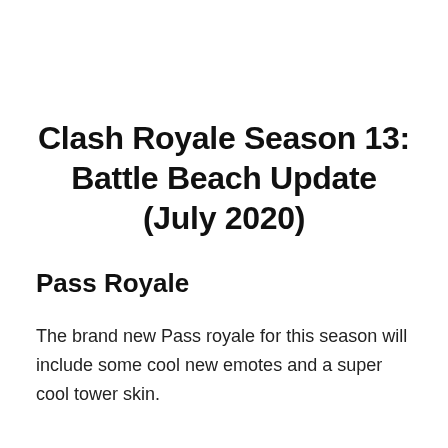Clash Royale Season 13: Battle Beach Update (July 2020)
Pass Royale
The brand new Pass royale for this season will include some cool new emotes and a super cool tower skin.